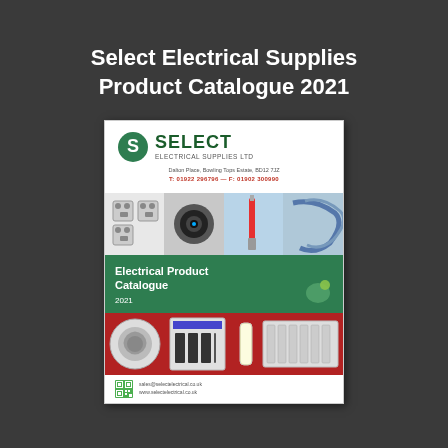Select Electrical Supplies Product Catalogue 2021
[Figure (illustration): Cover image of the Select Electrical Supplies Ltd Product Catalogue 2021, showing the company logo, address and phone numbers, a strip of product photos (sockets, camera, screwdriver, cable accessories), a green banner reading 'Electrical Product Catalogue 2021', a red strip with more products (fan, consumer unit, LED tube, radiator), and a footer with QR code and website.]